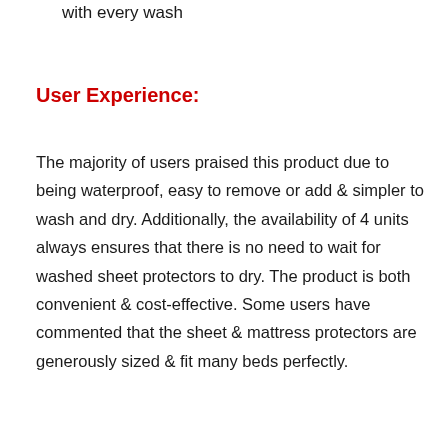with every wash
User Experience:
The majority of users praised this product due to being waterproof, easy to remove or add & simpler to wash and dry. Additionally, the availability of 4 units always ensures that there is no need to wait for washed sheet protectors to dry. The product is both convenient & cost-effective. Some users have commented that the sheet & mattress protectors are generously sized & fit many beds perfectly.